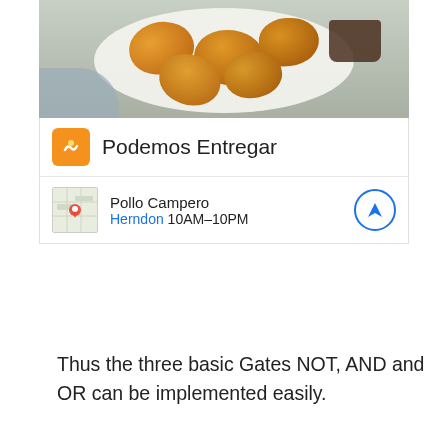[Figure (screenshot): Screenshot of a food delivery app (Podemos Entregar) showing fried chicken nuggets photo at top, the app logo and name 'Podemos Entregar', and a Pollo Campero restaurant listing in Herndon with hours 10AM-10PM and a navigation button.]
Thus the three basic Gates NOT, AND and OR can be implemented easily.
With the help of the basics above you can easily implement 8-bit ripple carry adders and so on.  All these basics are also the basics for the working of .